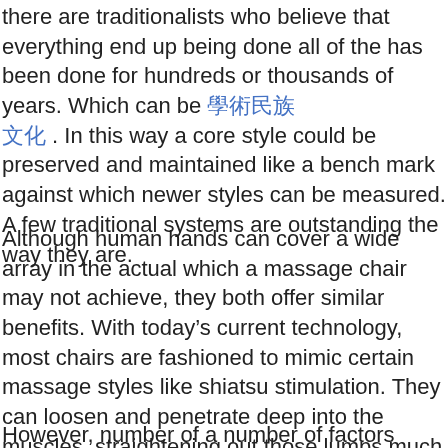there are traditionalists who believe that everything end up being done all of the has been done for hundreds or thousands of years. Which can be [link text]. In this way a core style could be preserved and maintained like a bench mark against which newer styles can be measured. A few traditional systems are outstanding the way they are.
Although human hands can cover a wide array in the actual which a massage chair may not achieve, they both offer similar benefits. With today's current technology, most chairs are fashioned to mimic certain massage styles like shiatsu stimulation. They can loosen and penetrate deep into the muscles, straightening out those lumps much like a hand massage truly.
However, number of a number of factors require to